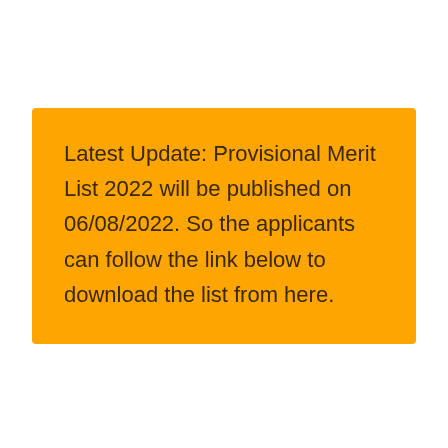Latest Update: Provisional Merit List 2022 will be published on 06/08/2022. So the applicants can follow the link below to download the list from here.